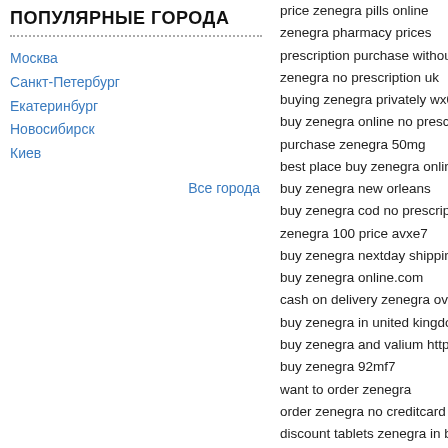ПОПУЛЯРНЫЕ ГОРОДА
Москва
Санкт-Петербург
Екатеринбург
Новосибирск
Киев
Все города
price zenegra pills online
zenegra pharmacy prices
prescription purchase without zenegra
zenegra no prescription uk
buying zenegra privately wx0do
buy zenegra online no prescriptin
purchase zenegra 50mg
best place buy zenegra online
buy zenegra new orleans
buy zenegra cod no prescription
zenegra 100 price avxe7
buy zenegra nextday shipping
buy zenegra online.com
cash on delivery zenegra overnight
buy zenegra in united kingdom
buy zenegra and valium http://simpler
buy zenegra 92mf7
want to order zenegra
order zenegra no creditcard
discount tablets zenegra in boise
cheap authentic zenegra
buy zenegra uk vjy3k
order online zenegra in nashville-davi
zenegra-mdcheap lynoral online witho
buy zenegra australia